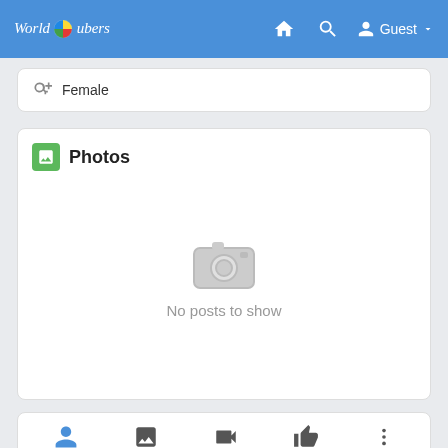WorldTubers — Guest
Female
Photos
[Figure (screenshot): Empty photos section with a grey camera icon and 'No posts to show' message]
No posts to show
[Figure (screenshot): Bottom navigation bar with person, image, video, thumbs-up, and more (three dots) icons]